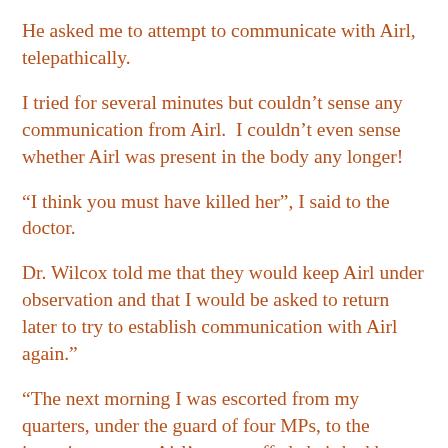He asked me to attempt to communicate with Airl, telepathically.
I tried for several minutes but couldn't sense any communication from Airl.  I couldn't even sense whether Airl was present in the body any longer!
“I think you must have killed her”, I said to the doctor.
Dr. Wilcox told me that they would keep Airl under observation and that I would be asked to return later to try to establish communication with Airl again."
“The next morning I was escorted from my quarters, under the guard of four MPs, to the interview room.  Airl’s overstuffed chair had been removed from the room and replaced by a small desk and several office chairs.  I was asked to sit down and wait to be interviewed.  After a few minutes Dr. Wilcox came into the office to...